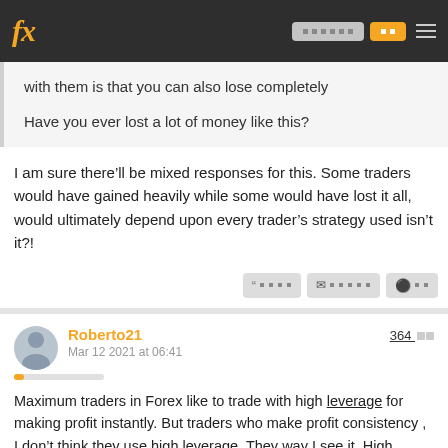fx [nav buttons] [hamburger]
with them is that you can also lose completely
Have you ever lost a lot of money like this?
I am sure there’ll be mixed responses for this. Some traders would have gained heavily while some would have lost it all, would ultimately depend upon every trader’s strategy used isn’t it?!
Roberto21
Mar 12 2021 at 06:41
364 é
Maximum traders in Forex like to trade with high leverage for making profit instantly. But traders who make profit consistency , I don’t think they use high leverage. They way I see it. High leverage gives us the benefits not to worry about margin requirements and one less thing to focus on. Abusing leverage can be costly for traders.